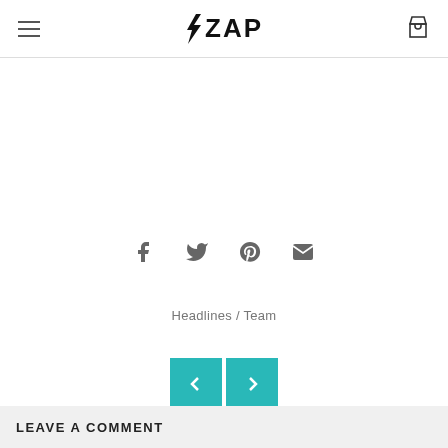ZAP (logo with lightning bolt, hamburger menu, cart icon)
[Figure (infographic): Social share icons: Facebook, Twitter, Pinterest, Email]
Headlines / Team
[Figure (infographic): Navigation buttons: left arrow (<) and right arrow (>), teal colored]
LEAVE A COMMENT